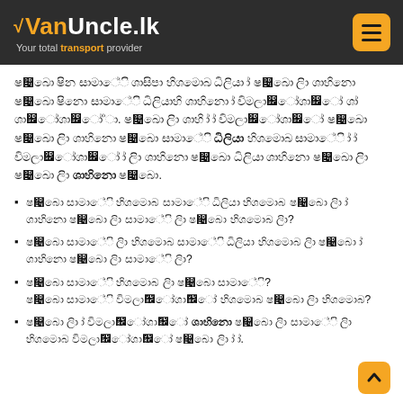VanUncle.lk — Your total transport provider
[Sinhala body text paragraph]
[Sinhala bullet item 1]
[Sinhala bullet item 2]
[Sinhala bullet items 3 and 4]
[Sinhala bullet item 5]